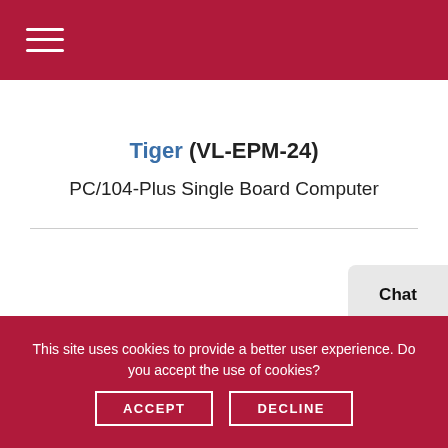Tiger (VL-EPM-24)
PC/104-Plus Single Board Computer
This site uses cookies to provide a better user experience. Do you accept the use of cookies?
ACCEPT
DECLINE